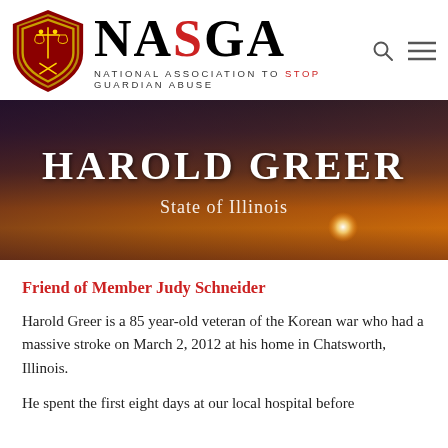[Figure (logo): NASGA logo: shield with scales of justice and National Association to Stop Guardian Abuse wordmark]
HAROLD GREER
State of Illinois
Friend of Member Judy Schneider
Harold Greer is a 85 year-old veteran of the Korean war who had a massive stroke on March 2, 2012 at his home in Chatsworth, Illinois.
He spent the first eight days at our local hospital before